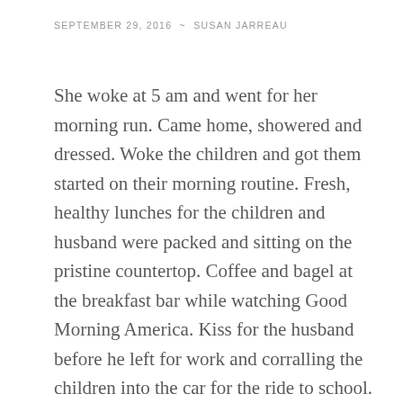SEPTEMBER 29, 2016  ~  SUSAN JARREAU
She woke at 5 am and went for her morning run. Came home, showered and dressed. Woke the children and got them started on their morning routine. Fresh, healthy lunches for the children and husband were packed and sitting on the pristine countertop. Coffee and bagel at the breakfast bar while watching Good Morning America. Kiss for the husband before he left for work and corralling the children into the car for the ride to school. At the drop off circle she was reminded of the bake sale on Thursday, no home baked goods to avoid food allergies. She called her mother on the way to work then, luckily just as she was about to be lectured, she arrived at the parking lot and had to hang up. Her neatly organized desk had her daily schedule prepared